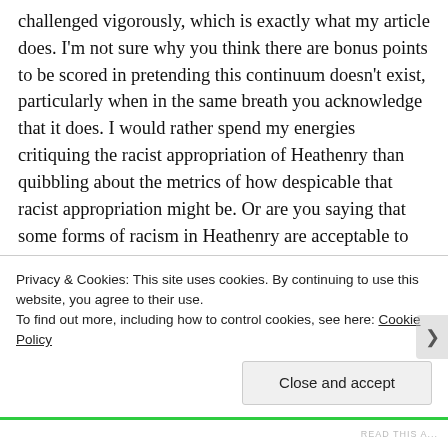challenged vigorously, which is exactly what my article does. I'm not sure why you think there are bonus points to be scored in pretending this continuum doesn't exist, particularly when in the same breath you acknowledge that it does. I would rather spend my energies critiquing the racist appropriation of Heathenry than quibbling about the metrics of how despicable that racist appropriation might be. Or are you saying that some forms of racism in Heathenry are acceptable to you? I hope not.

I have my own criticisms of some of the decisions that Heathen Harvest has made in terms of who it covers,
Privacy & Cookies: This site uses cookies. By continuing to use this website, you agree to their use.
To find out more, including how to control cookies, see here: Cookie Policy
Close and accept